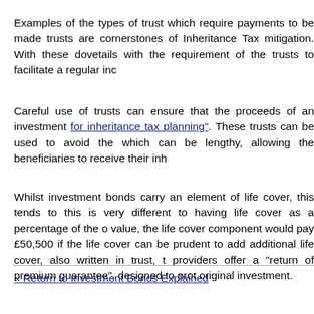Examples of the types of trust which require payments to be made trusts are cornerstones of Inheritance Tax mitigation. With these dovetails with the requirement of the trusts to facilitate a regular inc
Careful use of trusts can ensure that the proceeds of an investment for inheritance tax planning". These trusts can be used to avoid the which can be lengthy, allowing the beneficiaries to receive their inh
Whilst investment bonds carry an element of life cover, this tends to this is very different to having life cover as a percentage of the o value, the life cover component would pay £50,500 if the life cover can be prudent to add additional life cover, also written in trust, providers offer a "return of premium guarantee", designed to prot original investment.
« Return to Investment Bonds Explained